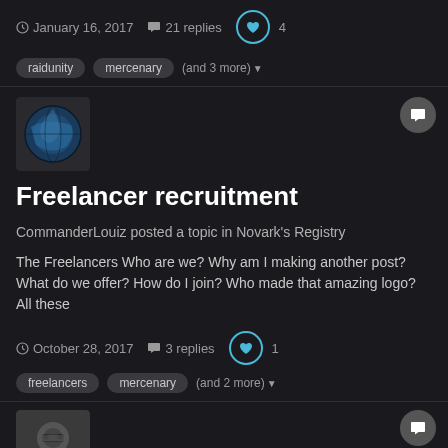January 16, 2017   21 replies   4
raidunity   mercenary   (and 3 more)
[Figure (photo): Avatar of a globe/earth image]
Freelancer recruitment
CommanderLouiz posted a topic in Novark's Registry
The Freelancers Who are we? Why am I making another post? What do we offer? How do I join? Who made that amazing logo? All these
October 28, 2017   3 replies   1
freelancers   mercenary   (and 2 more)
[Figure (photo): Avatar of a person wearing sunglasses]
If a mercenary makes an introduction is it an advertisement?